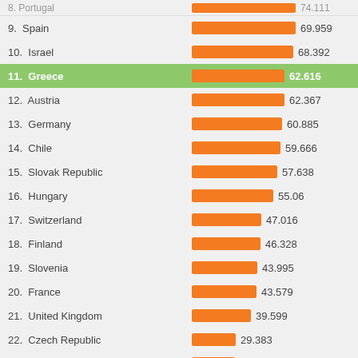[Figure (bar-chart): Countries ranked by value (partial, rows 8-24+)]